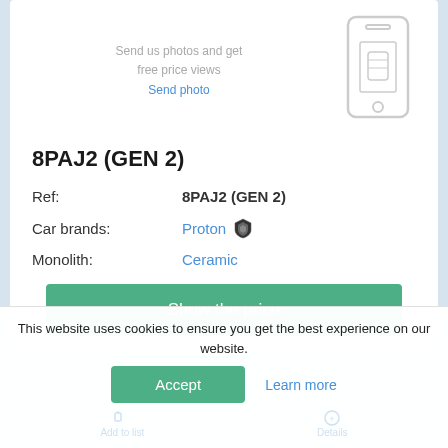Send us photos and get free price views
Send photo
8PAJ2 (GEN 2)
Ref: 8PAJ2 (GEN 2)
Car brands: Proton
Monolith: Ceramic
Show the price
This website uses cookies to ensure you get the best experience on our website.
Accept
Learn more